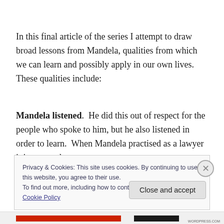In this final article of the series I attempt to draw broad lessons from Mandela, qualities from which we can learn and possibly apply in our own lives.  These qualities include:
Mandela listened.  He did this out of respect for the people who spoke to him, but he also listened in order to learn.  When Mandela practised as a lawyer it is reported
Privacy & Cookies: This site uses cookies. By continuing to use this website, you agree to their use.
To find out more, including how to control cookies, see here: Cookie Policy
Close and accept